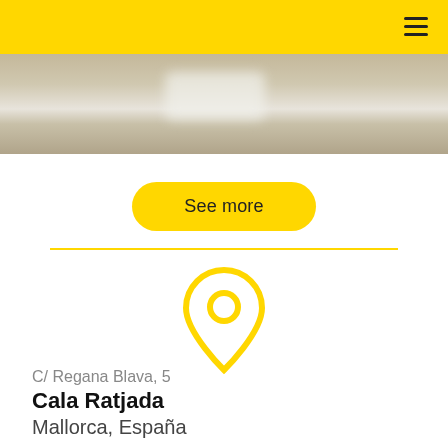[Figure (photo): A beach/sandy coastal scene photograph strip, partially blurred in the center, showing sandy textures with a light-colored patch.]
See more
[Figure (illustration): A yellow map location pin icon (drop pin with inner circle outline)]
C/ Regana Blava, 5
Cala Ratjada
Mallorca, España